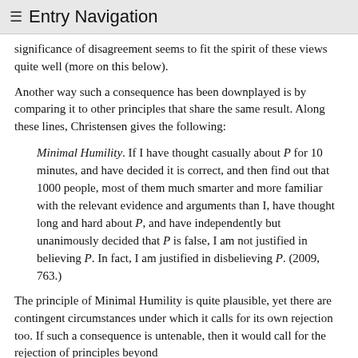≡ Entry Navigation
significance of disagreement seems to fit the spirit of these views quite well (more on this below).
Another way such a consequence has been downplayed is by comparing it to other principles that share the same result. Along these lines, Christensen gives the following:
Minimal Humility. If I have thought casually about P for 10 minutes, and have decided it is correct, and then find out that 1000 people, most of them much smarter and more familiar with the relevant evidence and arguments than I, have thought long and hard about P, and have independently but unanimously decided that P is false, I am not justified in believing P. In fact, I am justified in disbelieving P. (2009, 763.)
The principle of Minimal Humility is quite plausible, yet there are contingent circumstances under which it calls for its own rejection too. If such a consequence is untenable, then it would call for the rejection of principles beyond